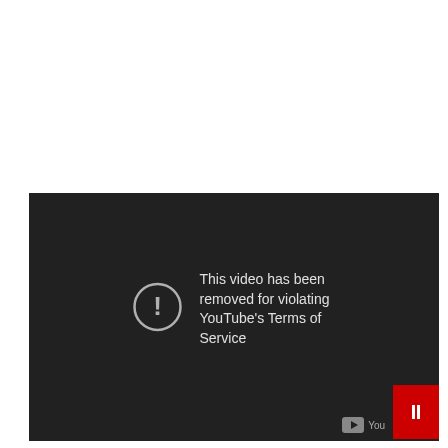[Figure (screenshot): A YouTube video player showing an error message on a dark background. The message reads: 'This video has been removed for violating YouTube's Terms of Service'. There is a circle with an exclamation mark icon to the left of the text. In the bottom-right corner there is a YouTube logo area and a red button with a pause/stop icon.]